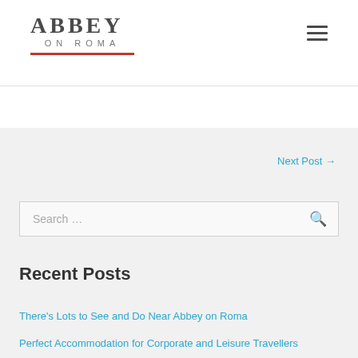[Figure (logo): Abbey on Roma logo with large serif text ABBEY, smaller text ON ROMA below, and a red horizontal line underneath]
Next Post →
Search …
Recent Posts
There's Lots to See and Do Near Abbey on Roma
Perfect Accommodation for Corporate and Leisure Travellers